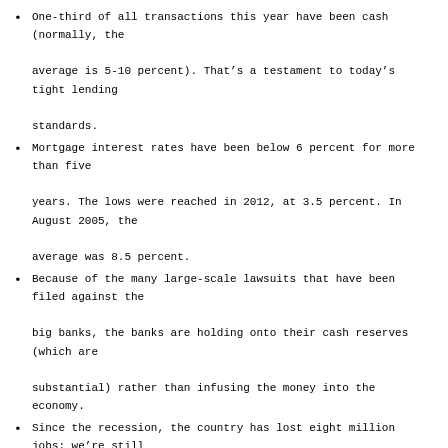One-third of all transactions this year have been cash (normally, the average is 5-10 percent). That's a testament to today's tight lending standards.
Mortgage interest rates have been below 6 percent for more than five years. The lows were reached in 2012, at 3.5 percent. In August 2005, the average was 8.5 percent.
Because of the many large-scale lawsuits that have been filed against the big banks, the banks are holding onto their cash reserves (which are substantial) rather than infusing the money into the economy.
Since the recession, the country has lost eight million jobs; we're still down (currently at seven million) but are heading in the right direction.
The rental population is growing but the home-owning population isn't. At one point, 70 percent of Americans were homeowners. Now it's 65 percent. Yun expects the number to go down a bit, to 63-64 percent.
There's a dramatic difference in the net worth of renters vs. homeowners. It's $3,000-$4,000 for renters and $150,000-$250,000 for homeowners.